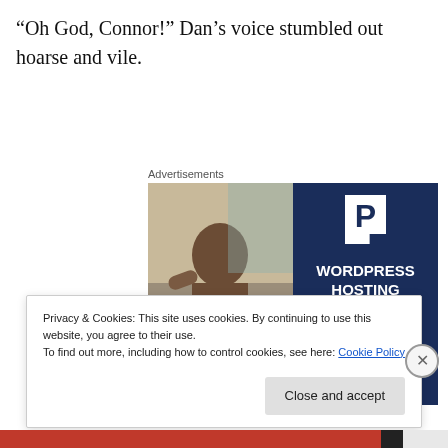“Oh God, Connor!” Dan’s voice stumbled out hoarse and vile.
Advertisements
[Figure (photo): Advertisement for WordPress Hosting. Left half shows a woman smiling and holding an OPEN sign. Right half has a dark navy background with a white P logo and text reading WORDPRESS HOSTING THAT MEANS BUSINESS.]
Privacy & Cookies: This site uses cookies. By continuing to use this website, you agree to their use.
To find out more, including how to control cookies, see here: Cookie Policy
Close and accept